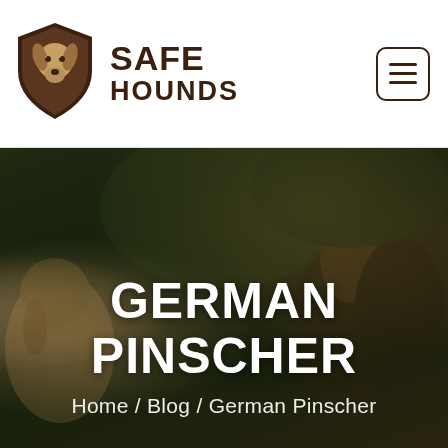[Figure (logo): Safe Hounds logo: shield with dog head silhouette in brown/tan colors, with text SAFE HOUNDS in dark brown bold font]
[Figure (photo): Hero banner background photo of multiple dogs (beagle and other breeds) outdoors on grass with green foliage, darkened with overlay]
GERMAN PINSCHER
Home / Blog / German Pinscher